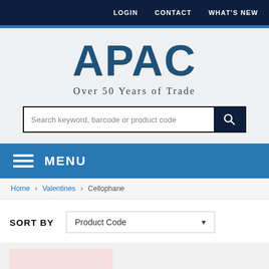LOGIN  CONTACT  WHAT'S NEW
APAC
Over 50 Years of Trade
[Figure (screenshot): Search input field with placeholder text 'Search keyword, barcode or product code' and a dark blue search button with magnifying glass icon]
MENU
Home › Valentines › Cellophane
SORT BY  Product Code
[Figure (photo): Partial product image with light pink/valentine-themed background visible at bottom of page]